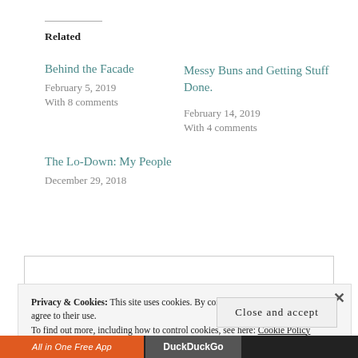Related
Behind the Facade
February 5, 2019
With 8 comments
Messy Buns and Getting Stuff Done.
February 14, 2019
With 4 comments
The Lo-Down: My People
December 29, 2018
Privacy & Cookies: This site uses cookies. By continuing to use this website, you agree to their use.
To find out more, including how to control cookies, see here: Cookie Policy
Close and accept